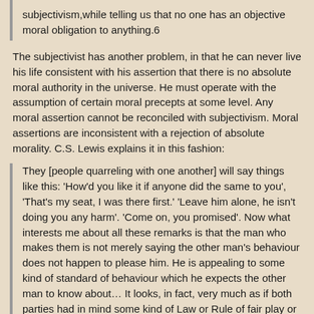subjectivism,while telling us that no one has an objective moral obligation to anything.6
The subjectivist has another problem, in that he can never live his life consistent with his assertion that there is no absolute moral authority in the universe. He must operate with the assumption of certain moral precepts at some level. Any moral assertion cannot be reconciled with subjectivism. Moral assertions are inconsistent with a rejection of absolute morality. C.S. Lewis explains it in this fashion:
They [people quarreling with one another] will say things like this: 'How'd you like it if anyone did the same to you', 'That's my seat, I was there first.' 'Leave him alone, he isn't doing you any harm'. 'Come on, you promised'. Now what interests me about all these remarks is that the man who makes them is not merely saying the other man's behaviour does not happen to please him. He is appealing to some kind of standard of behaviour which he expects the other man to know about… It looks, in fact, very much as if both parties had in mind some kind of Law or Rule of fair play or decent behaviour or morality or whatever you like to call it, about which they really